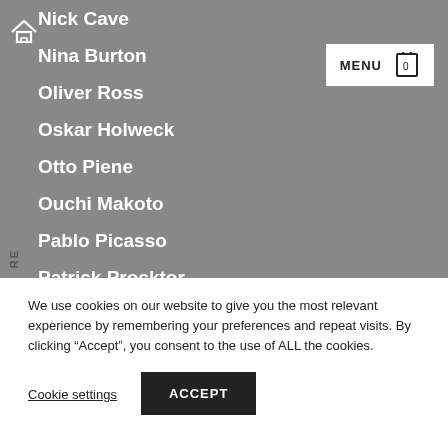Nick Cave
Nina Burton
Oliver Ross
Oskar Holweck
Otto Piene
Ouchi Makoto
Pablo Picasso
Patrick Procktor
Paul Kostabi
Peter Schmidt
We use cookies on our website to give you the most relevant experience by remembering your preferences and repeat visits. By clicking “Accept”, you consent to the use of ALL the cookies.
Cookie settings
ACCEPT